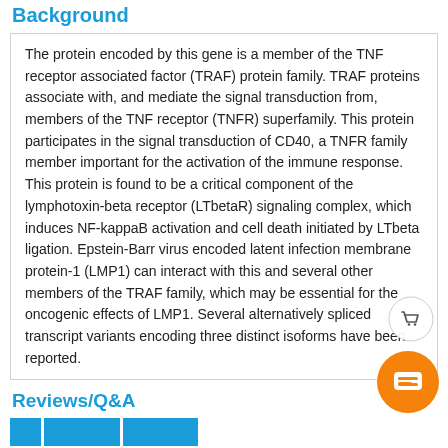Background
The protein encoded by this gene is a member of the TNF receptor associated factor (TRAF) protein family. TRAF proteins associate with, and mediate the signal transduction from, members of the TNF receptor (TNFR) superfamily. This protein participates in the signal transduction of CD40, a TNFR family member important for the activation of the immune response. This protein is found to be a critical component of the lymphotoxin-beta receptor (LTbetaR) signaling complex, which induces NF-kappaB activation and cell death initiated by LTbeta ligation. Epstein-Barr virus encoded latent infection membrane protein-1 (LMP1) can interact with this and several other members of the TRAF family, which may be essential for the oncogenic effects of LMP1. Several alternatively spliced transcript variants encoding three distinct isoforms have been reported.
Reviews/Q&A